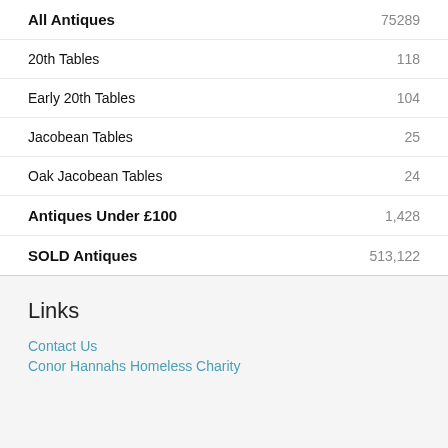All Antiques 75289
20th Tables 118
Early 20th Tables 104
Jacobean Tables 25
Oak Jacobean Tables 24
Antiques Under £100 1,428
SOLD Antiques 513,122
Links
Contact Us
Conor Hannahs Homeless Charity